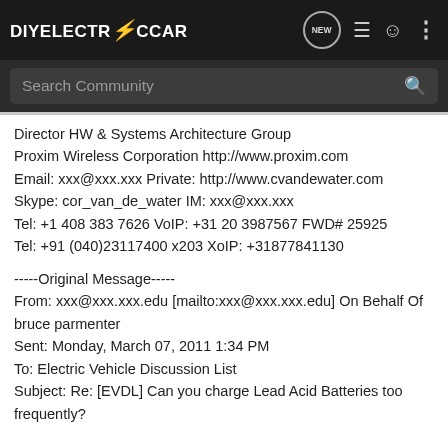DIYELECTRiCCAR — navigation bar with Search Community
Director HW & Systems Architecture Group
Proxim Wireless Corporation http://www.proxim.com
Email: xxx@xxx.xxx Private: http://www.cvandewater.com
Skype: cor_van_de_water IM: xxx@xxx.xxx
Tel: +1 408 383 7626 VoIP: +31 20 3987567 FWD# 25925
Tel: +91 (040)23117400 x203 XoIP: +31877841130
-----Original Message-----
From: xxx@xxx.xxx.edu [mailto:xxx@xxx.xxx.edu] On Behalf Of bruce parmenter
Sent: Monday, March 07, 2011 1:34 PM
To: Electric Vehicle Discussion List
Subject: Re: [EVDL] Can you charge Lead Acid Batteries too frequently?